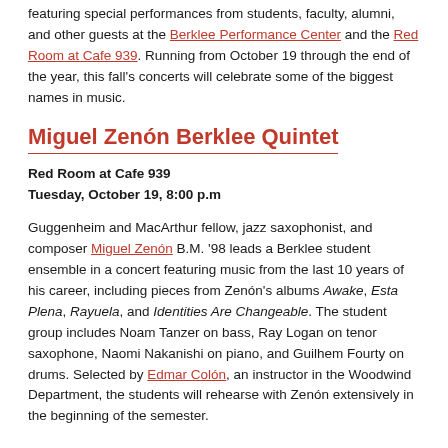featuring special performances from students, faculty, alumni, and other guests at the Berklee Performance Center and the Red Room at Cafe 939. Running from October 19 through the end of the year, this fall's concerts will celebrate some of the biggest names in music.
Miguel Zenón Berklee Quintet
Red Room at Cafe 939
Tuesday, October 19, 8:00 p.m
Guggenheim and MacArthur fellow, jazz saxophonist, and composer Miguel Zenón B.M. '98 leads a Berklee student ensemble in a concert featuring music from the last 10 years of his career, including pieces from Zenón's albums Awake, Esta Plena, Rayuela, and Identities Are Changeable. The student group includes Noam Tanzer on bass, Ray Logan on tenor saxophone, Naomi Nakanishi on piano, and Guilhem Fourty on drums. Selected by Edmar Colón, an instructor in the Woodwind Department, the students will rehearse with Zenón extensively in the beginning of the semester.